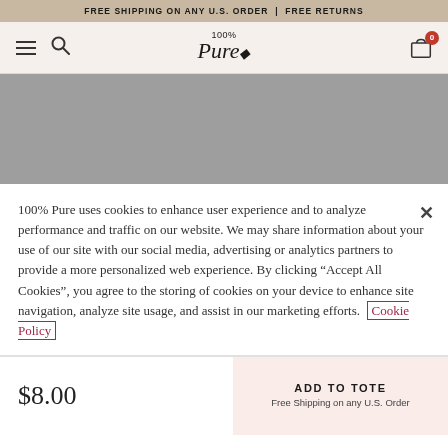FREE SHIPPING ON ANY U.S. ORDER | FREE RETURNS
[Figure (screenshot): 100% Pure website navigation bar with hamburger menu, search icon, logo, and cart icon showing 0 items]
[Figure (photo): Gray placeholder image area for product]
100% Pure uses cookies to enhance user experience and to analyze performance and traffic on our website. We may share information about your use of our site with our social media, advertising or analytics partners to provide a more personalized web experience. By clicking “Accept All Cookies”, you agree to the storing of cookies on your device to enhance site navigation, analyze site usage, and assist in our marketing efforts. Cookie Policy
$8.00
ADD TO TOTE
Free Shipping on any U.S. Order